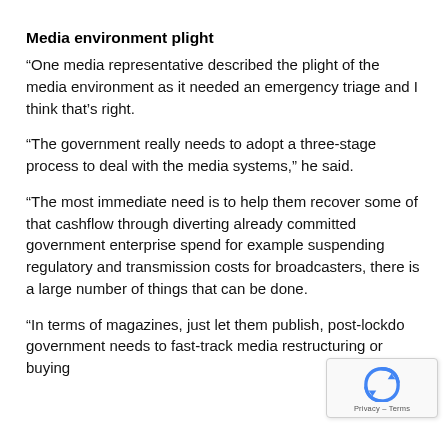Media environment plight
“One media representative described the plight of the media environment as it needed an emergency triage and I think that’s right.
“The government really needs to adopt a three-stage process to deal with the media systems,” he said.
“The most immediate need is to help them recover some of that cashflow through diverting already committed government enterprise spend for example suspending regulatory and transmission costs for broadcasters, there is a large number of things that can be done.
“In terms of magazines, just let them publish, post-lockdo government needs to fast-track media restructuring or buying